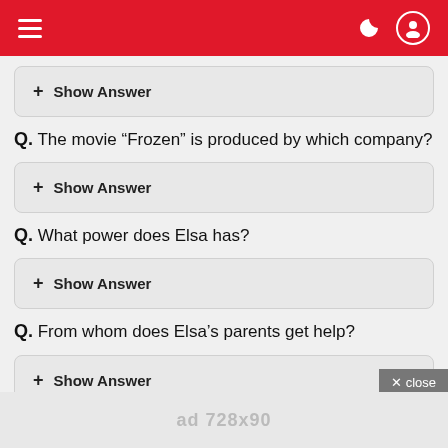Navigation header with hamburger menu, dark mode toggle, and user icon
+ Show Answer
Q. The movie “Frozen” is produced by which company?
+ Show Answer
Q. What power does Elsa has?
+ Show Answer
Q. From whom does Elsa’s parents get help?
+ Show Answer
ad 728x90